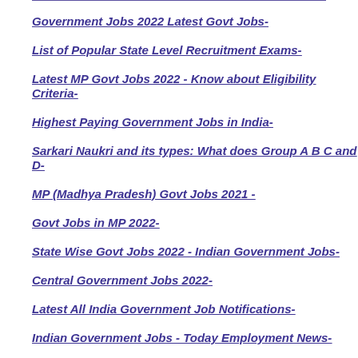Government Jobs 2022 Latest Govt Jobs-
List of Popular State Level Recruitment Exams-
Latest MP Govt Jobs 2022 - Know about Eligibility Criteria-
Highest Paying Government Jobs in India-
Sarkari Naukri and its types: What does Group A B C and D-
MP (Madhya Pradesh) Govt Jobs 2021 -
Govt Jobs in MP 2022-
State Wise Govt Jobs 2022 - Indian Government Jobs-
Central Government Jobs 2022-
Latest All India Government Job Notifications-
Indian Government Jobs - Today Employment News-